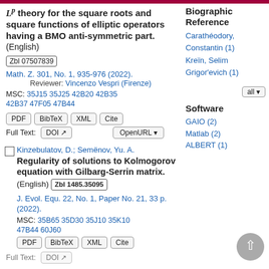Lp theory for the square roots and square functions of elliptic operators having a BMO anti-symmetric part. (English)
Zbl 07507839
Math. Z. 301, No. 1, 935-976 (2022).
Reviewer: Vincenzo Vespri (Firenze)
MSC: 35J15 35J25 42B20 42B35 42B37 47F05 47B44
PDF BibTeX XML Cite
Full Text: DOI OpenURL
Biographic Reference
Carathéodory, Constantin (1)
Kreïn, Selim Grigor'evich (1)
all
Software
GAIO (2)
Matlab (2)
ALBERT (1)
Kinzebulatov, D.; Semënov, Yu. A. Regularity of solutions to Kolmogorov equation with Gilbarg-Serrin matrix. (English)
Zbl 1485.35095
J. Evol. Equ. 22, No. 1, Paper No. 21, 33 p. (2022).
MSC: 35B65 35D30 35J10 35K10 47B44 60J60
PDF BibTeX XML Cite